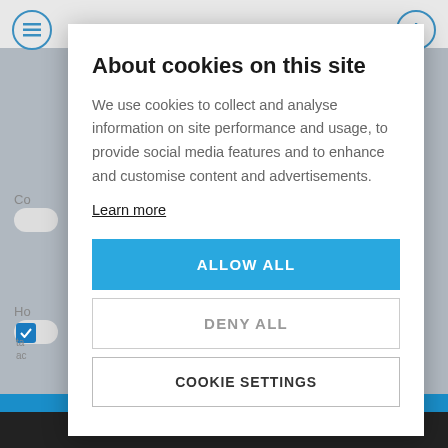About cookies on this site
We use cookies to collect and analyse information on site performance and usage, to provide social media features and to enhance and customise content and advertisements.
Learn more
ALLOW ALL
DENY ALL
COOKIE SETTINGS